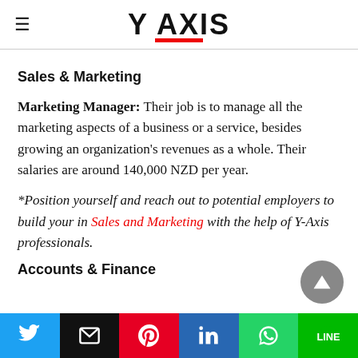Y AXIS
Sales & Marketing
Marketing Manager: Their job is to manage all the marketing aspects of a business or a service, besides growing an organization's revenues as a whole. Their salaries are around 140,000 NZD per year.
*Position yourself and reach out to potential employers to build your in Sales and Marketing with the help of Y-Axis professionals.
Accounts & Finance